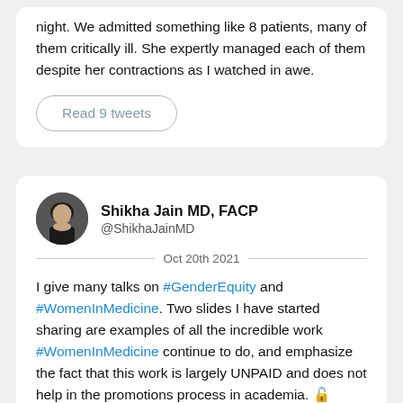night. We admitted something like 8 patients, many of them critically ill. She expertly managed each of them despite her contractions as I watched in awe.
Read 9 tweets
Shikha Jain MD, FACP @ShikhaJainMD Oct 20th 2021
I give many talks on #GenderEquity and #WomenInMedicine. Two slides I have started sharing are examples of all the incredible work #WomenInMedicine continue to do, and emphasize the fact that this work is largely UNPAID and does not help in the promotions process in academia.